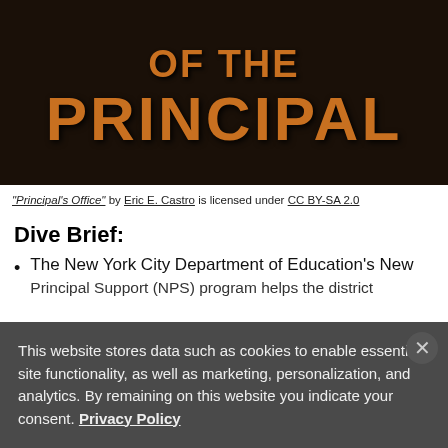[Figure (photo): Photo of a principal's office sign with large wooden letters reading 'OF THE PRINCIPAL' on a dark background]
"Principal's Office" by Eric E. Castro is licensed under CC BY-SA 2.0
Dive Brief:
The New York City Department of Education's New Principal Support (NPS) program helps the district
This website stores data such as cookies to enable essential site functionality, as well as marketing, personalization, and analytics. By remaining on this website you indicate your consent. Privacy Policy